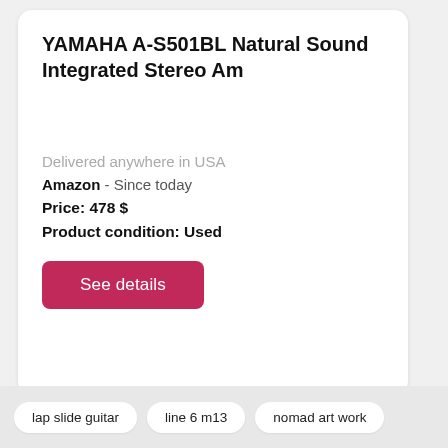YAMAHA A-S501BL Natural Sound Integrated Stereo Am
Delivered anywhere in USA
Amazon  - Since today
Price: 478 $
Product condition: Used
See details
lap slide guitar
line 6 m13
nomad art work